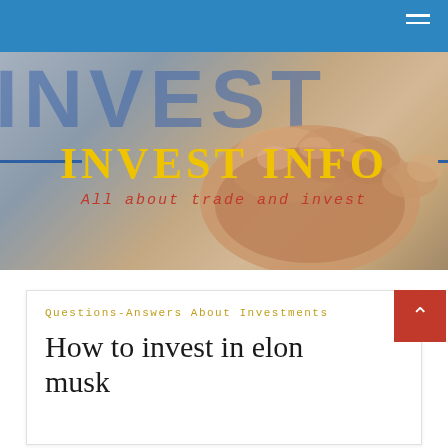INVEST INFO navigation bar
[Figure (photo): Hero banner showing a hand writing or holding a marker with 'INVEST' text in the background, overlaid with the site title 'INVEST INFO' in yellow and subtitle 'All about trade and invest' in red.]
INVEST INFO
All about trade and invest
Questions-Answers About Investments
How to invest in elon musk